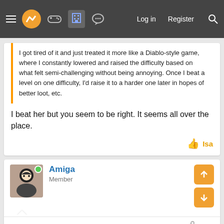Menu | Logo | Games | Forum | Chat | Log in | Register | Search
I got tired of it and just treated it more like a Diablo-style game, where I constantly lowered and raised the difficulty based on what felt semi-challenging without being annoying. Once I beat a level on one difficulty, I'd raise it to a harder one later in hopes of better loot, etc.
I beat her but you seem to be right. It seems all over the place.
Isa
Amiga
Member
Apr 10, 2022